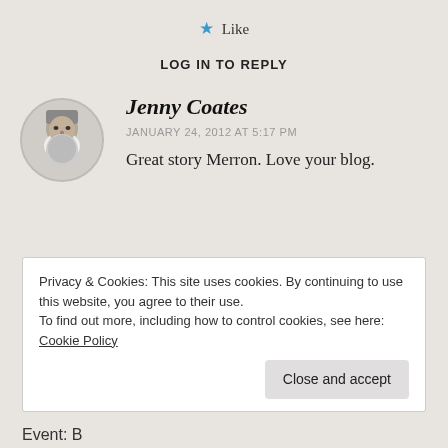★ Like
LOG IN TO REPLY
Jenny Coates
JANUARY 24, 2012 AT 5:17 PM
Great story Merron. Love your blog.
Privacy & Cookies: This site uses cookies. By continuing to use this website, you agree to their use.
To find out more, including how to control cookies, see here: Cookie Policy
Close and accept
Event: B